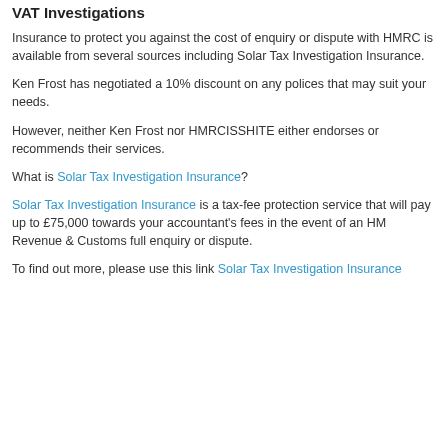VAT Investigations
Insurance to protect you against the cost of enquiry or dispute with HMRC is available from several sources including Solar Tax Investigation Insurance.
Ken Frost has negotiated a 10% discount on any polices that may suit your needs.
However, neither Ken Frost nor HMRCISSHITE either endorses or recommends their services.
What is Solar Tax Investigation Insurance?
Solar Tax Investigation Insurance is a tax-fee protection service that will pay up to £75,000 towards your accountant's fees in the event of an HM Revenue & Customs full enquiry or dispute.
To find out more, please use this link Solar Tax Investigation Insurance